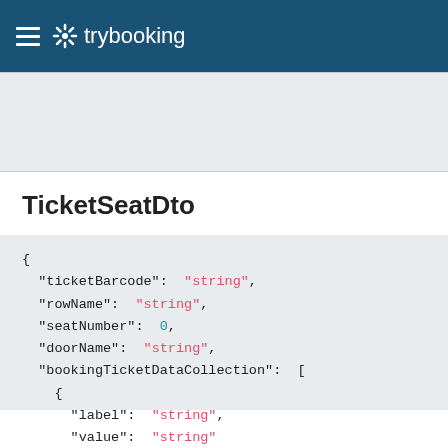≡ ✱ trybooking
TicketSeatDto
{
  "ticketBarcode":  "string",
  "rowName":  "string",
  "seatNumber":  0,
  "doorName":  "string",
  "bookingTicketDataCollection":  [
    {
      "label":  "string",
      "value":  "string"
    }
  ]